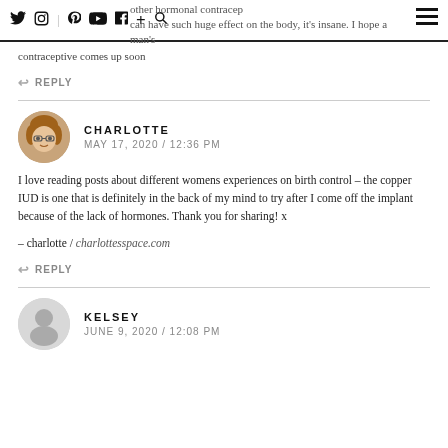Twitter | Instagram | Pinterest | YouTube | Facebook | + | Search | other hormonal contraceptives can have such huge effect on the body, it's insane. I hope a man's contraceptive comes up soon
contraceptive comes up soon
↩ REPLY
CHARLOTTE
MAY 17, 2020 / 12:36 PM
I love reading posts about different womens experiences on birth control – the copper IUD is one that is definitely in the back of my mind to try after I come off the implant because of the lack of hormones. Thank you for sharing! x
– charlotte / charlottesspace.com
↩ REPLY
KELSEY
JUNE 9, 2020 / 12:08 PM